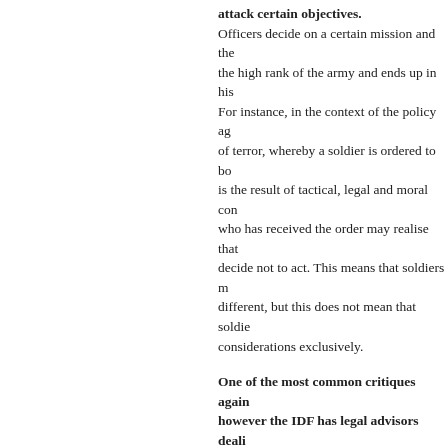attack certain objectives.
Officers decide on a certain mission and the the high rank of the army and ends up in hi For instance, in the context of the policy ag of terror, whereby a soldier is ordered to bo is the result of tactical, legal and moral con who has received the order may realise that decide not to act. This means that soldiers r different, but this does not mean that soldie considerations exclusively.
One of the most common critiques again however the IDF has legal advisors deali
There are many different questions related tactical and legal issues. Regarding the law, internal, national as well as international. T international law. There is a planning comm decision. Each action is the result of in-dep challenges that Israel faces: a tactic error in act in a very complex situation and we nee
What are the future challenges of Tzahal
We are living in a crucial moment; we are i consequences, full of risks as well as of opp order to be ready for every possible scenari Israel is not involved in what is happening citizens of the North: often missiles fall in I In general, the whole Middle East is radical range of hostile possibilities, also because I East that may eventually unify.